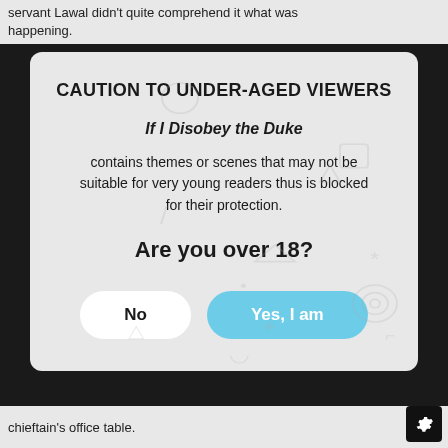servant Lawal didn't quite comprehend it what was happening.
CAUTION TO UNDER-AGED VIEWERS
If I Disobey the Duke
contains themes or scenes that may not be suitable for very young readers thus is blocked for their protection.
Are you over 18?
No
Yes, I am
chieftain's office table.